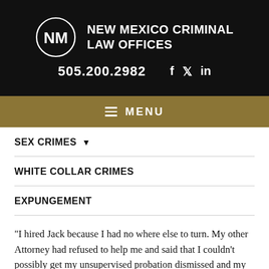[Figure (logo): New Mexico Criminal Law Offices logo — circular NM monogram in white on black, with firm name in white bold sans-serif text]
505.200.2982   f  𝕏  in
≡  MENU
SEX CRIMES ▼
WHITE COLLAR CRIMES
EXPUNGEMENT
"I hired Jack because I had no where else to turn. My other Attorney had refused to help me and said that I couldn't possibly get my unsupervised probation dismissed and my rights granted back to me early. I had been on supervised